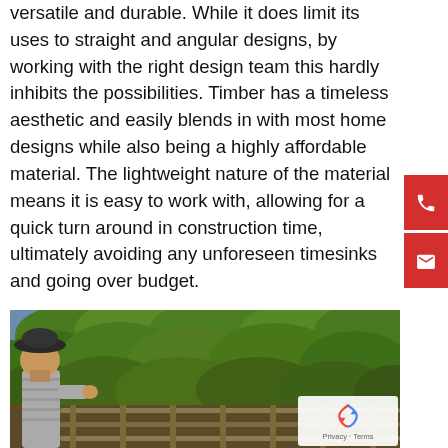versatile and durable. While it does limit its uses to straight and angular designs, by working with the right design team this hardly inhibits the possibilities. Timber has a timeless aesthetic and easily blends in with most home designs while also being a highly affordable material. The lightweight nature of the material means it is easy to work with, allowing for a quick turn around in construction time, ultimately avoiding any unforeseen timesinks and going over budget.
[Figure (photo): A person wearing a dark hat and grey striped clothing working near a timber fence overgrown with dense green vegetation/ivy]